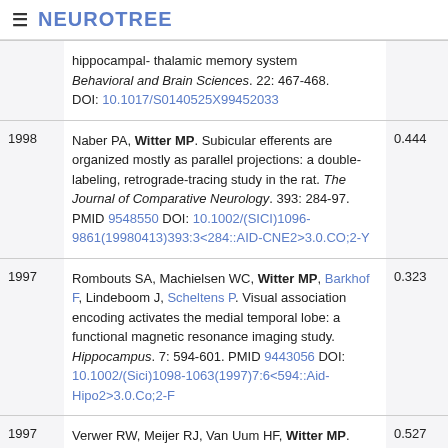≡ NEUROTREE
| Year | Reference | Score |
| --- | --- | --- |
|  | hippocampal- thalamic memory system Behavioral and Brain Sciences. 22: 467-468. DOI: 10.1017/S0140525X99452033 |  |
| 1998 | Naber PA, Witter MP. Subicular efferents are organized mostly as parallel projections: a double-labeling, retrograde-tracing study in the rat. The Journal of Comparative Neurology. 393: 284-97. PMID 9548550 DOI: 10.1002/(SICI)1096-9861(19980413)393:3<284::AID-CNE2>3.0.CO;2-Y | 0.444 |
| 1997 | Rombouts SA, Machielsen WC, Witter MP, Barkhof F, Lindeboom J, Scheltens P. Visual association encoding activates the medial temporal lobe: a functional magnetic resonance imaging study. Hippocampus. 7: 594-601. PMID 9443056 DOI: 10.1002/(Sici)1098-1063(1997)7:6<594::Aid-Hipo2>3.0.Co;2-F | 0.323 |
| 1997 | Verwer RW, Meijer RJ, Van Uum HF, Witter MP. | 0.527 |